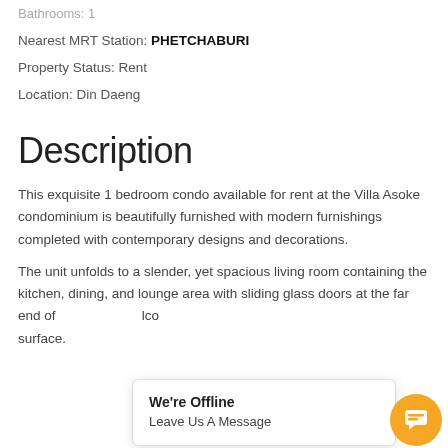Bathrooms: 1
Nearest MRT Station: PHETCHABURI
Property Status: Rent
Location: Din Daeng
Description
This exquisite 1 bedroom condo available for rent at the Villa Asoke condominium is beautifully furnished with modern furnishings completed with contemporary designs and decorations.
The unit unfolds to a slender, yet spacious living room containing the kitchen, dining, and lounge area with sliding glass doors at the far end of [obscured] lco surface.
We're Offline
Leave Us A Message